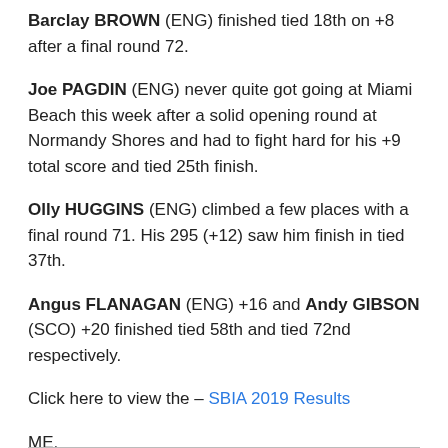Barclay BROWN (ENG) finished tied 18th on +8 after a final round 72.
Joe PAGDIN (ENG) never quite got going at Miami Beach this week after a solid opening round at Normandy Shores and had to fight hard for his +9 total score and tied 25th finish.
Olly HUGGINS (ENG) climbed a few places with a final round 71. His 295 (+12) saw him finish in tied 37th.
Angus FLANAGAN (ENG) +16 and Andy GIBSON (SCO) +20 finished tied 58th and tied 72nd respectively.
Click here to view the – SBIA 2019 Results
ME.